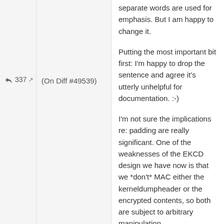separate words are used for emphasis. But I am happy to change it.
337 ↗
(On Diff #49539)
Putting the most important bit first: I'm happy to drop the sentence and agree it's utterly unhelpful for documentation. :-)
I'm not sure the implications re: padding are really significant. One of the weaknesses of the EKCD design we have now is that we *don't* MAC either the kerneldumpheader or the encrypted contents, so both are subject to arbitrary manipulation...